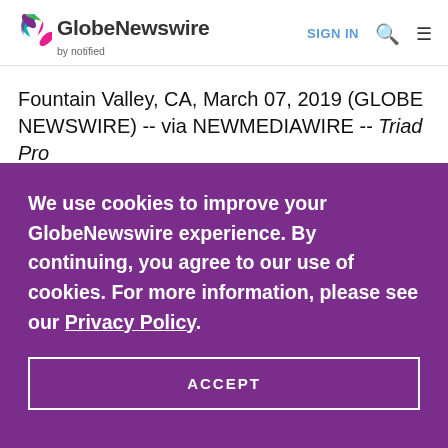GlobeNewswire by notified — SIGN IN
Fountain Valley, CA, March 07, 2019 (GLOBE NEWSWIRE) -- via NEWMEDIAWIRE -- Triad Pro
We use cookies to improve your GlobeNewswire experience. By continuing, you agree to our use of cookies. For more information, please see our Privacy Policy.
ACCEPT